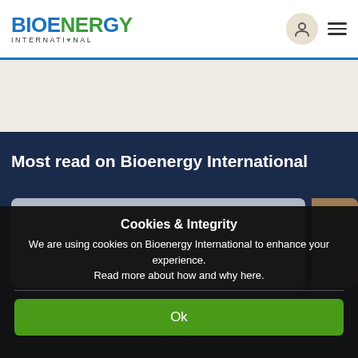BIOENERGY INTERNATIONAL
Most read on Bioenergy International
[Figure (photo): Two image cards partially visible: a grey/sky card on the left and a brown/sand terrain card on the right]
Cookies & Integrity
We are using cookies on Bioenergy International to enhance your experience.
Read more about how and why here.
Ok